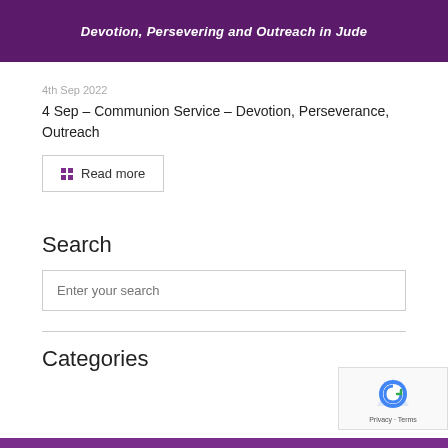[Figure (illustration): Dark purple banner with bold white italic text 'Devotion, Persevering and Outreach in Jude' and a pink/magenta circular logo element on the left]
4th Sep 2022
4 Sep – Communion Service – Devotion, Perseverance, Outreach
Read more
Search
Enter your search
Categories